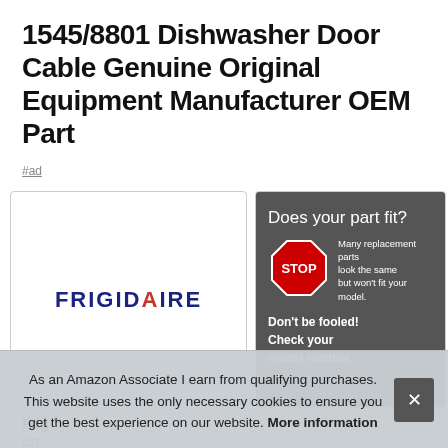1545/8801 Dishwasher Door Cable Genuine Original Equipment Manufacturer OEM Part
#ad
[Figure (logo): Frigidaire brand logo in dark blue bold text]
[Figure (photo): STOP sign advertisement: 'Does your part fit? Many replacement parts look the same but won't fit your model. Don't be fooled! Check your model number']
Frig...
circ...
number 154578801 is for dishwashers. Genuine original
As an Amazon Associate I earn from qualifying purchases. This website uses the only necessary cookies to ensure you get the best experience on our website. More information